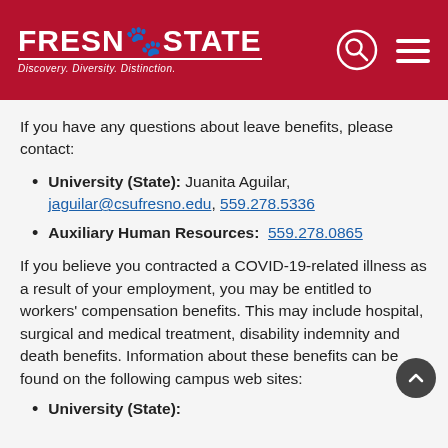FRESNO STATE — Discovery. Diversity. Distinction.
If you have any questions about leave benefits, please contact:
University (State): Juanita Aguilar, jaguilar@csufresno.edu, 559.278.5336
Auxiliary Human Resources: 559.278.0865
If you believe you contracted a COVID-19-related illness as a result of your employment, you may be entitled to workers' compensation benefits. This may include hospital, surgical and medical treatment, disability indemnity and death benefits. Information about these benefits can be found on the following campus web sites:
University (State):